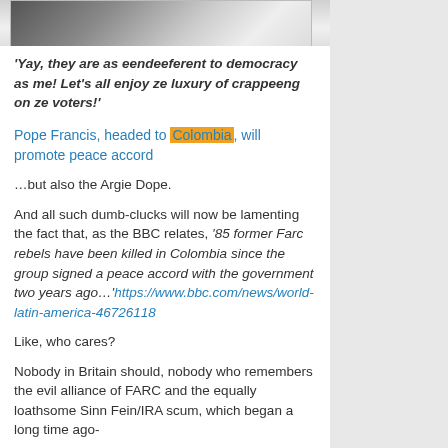[Figure (photo): Partial photo strip at top of page showing blurred light-colored image]
'Yay, they are as eendeeferent to democracy as me! Let's all enjoy ze luxury of crappeeng on ze voters!'
Pope Francis, headed to Colombia, will promote peace accord
…but also the Argie Dope.
And all such dumb-clucks will now be lamenting the fact that, as the BBC relates, '85 former Farc rebels have been killed in Colombia since the group signed a peace accord with the government two years ago…'https://www.bbc.com/news/world-latin-america-46726118
Like, who cares?
Nobody in Britain should, nobody who remembers the evil alliance of FARC and the equally loathsome Sinn Fein/IRA scum, which began a long time ago-